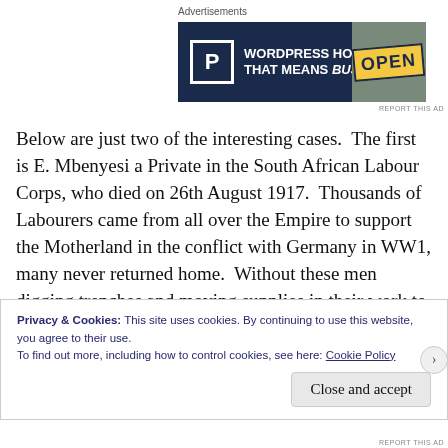Advertisements
[Figure (other): Advertisement banner for WordPress hosting with blue background, parking P logo, text 'WORDPRESS HOSTING THAT MEANS BUSINESS.' and an OPEN sign photo]
Below are just two of the interesting cases.  The first is E. Mbenyesi a Private in the South African Labour Corps, who died on 26th August 1917.  Thousands of Labourers came from all over the Empire to support the Motherland in the conflict with Germany in WW1, many never returned home.  Without these men digging trenches and moving supplies in their work to support the front line troops, the Germans
Privacy & Cookies: This site uses cookies. By continuing to use this website, you agree to their use.
To find out more, including how to control cookies, see here: Cookie Policy